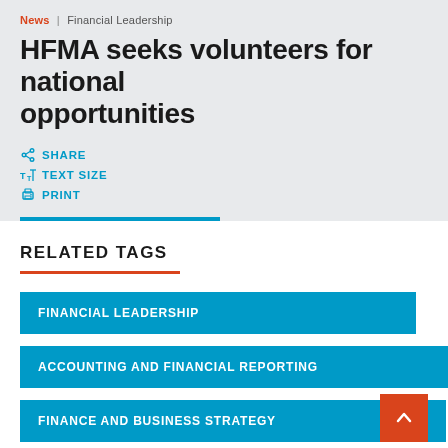News | Financial Leadership
HFMA seeks volunteers for national opportunities
SHARE
TEXT SIZE
PRINT
RELATED TAGS
FINANCIAL LEADERSHIP
ACCOUNTING AND FINANCIAL REPORTING
FINANCE AND BUSINESS STRATEGY